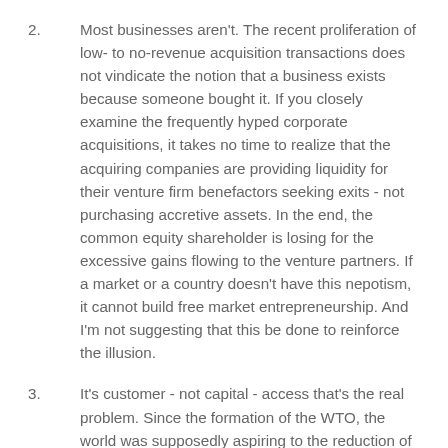2.        Most businesses aren't.  The recent proliferation of low- to no-revenue acquisition transactions does not vindicate the notion that a business exists because someone bought it.  If you closely examine the frequently hyped corporate acquisitions, it takes no time to realize that the acquiring companies are providing liquidity for their venture firm benefactors seeking exits - not purchasing accretive assets.  In the end, the common equity shareholder is losing for the excessive gains flowing to the venture partners.  If a market or a country doesn't have this nepotism, it cannot build free market entrepreneurship.  And I'm not suggesting that this be done to reinforce the illusion.
3.        It's customer - not capital - access that's the real problem.  Since the formation of the WTO, the world was supposedly aspiring to the reduction of obstacles to trade.  And it's fair to say that in internet and telecom enabled businesses, this aspiration has been partially achieved.  But for the majority of business, multi-lateral and bi-lateral agreements have been overweight in their favoritism to certain industries while leaving the majority of industry in the